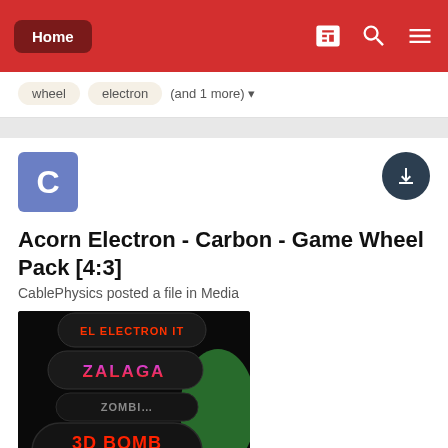Home
wheel
electron
(and 1 more)
Acorn Electron - Carbon - Game Wheel Pack [4:3]
CablePhysics posted a file in Media
[Figure (photo): Game wheel pack showing stacked oval/pill-shaped game tiles on a dark background. Visible game names include ZALAGA, ZOMBIE (partial), 3D BOMB ALLEY, ALPHATRON, ANARCHY, and partial others. The tiles are black with colorful neon-style text. A green element is partially visible on the right.]